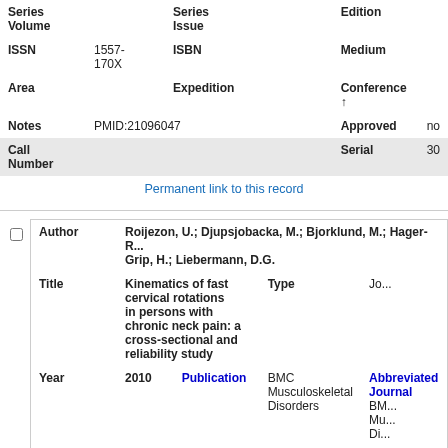| Series Volume |  | Series Issue |  | Edition |  |
| ISSN | 1557-170X | ISBN |  | Medium |  |
| Area |  | Expedition |  | Conference ↑ |  |
| Notes | PMID:21096047 |  |  | Approved | no |
| Call Number |  |  |  | Serial | 30 |
Permanent link to this record
| Author | Roijezon, U.; Djupsjobacka, M.; Bjorklund, M.; Hager-R... Grip, H.; Liebermann, D.G. |  |  |
| Title | Kinematics of fast cervical rotations in persons with chronic neck pain: a cross-sectional and reliability study | Type | Jo... |
| Year | 2010 | Publication | BMC Musculoskeletal Disorders | Abbreviated Journal | BM... Mu... Di... |
| Volume | 11 | Issue |  | Pages | 22 |
| Keywords | Adult; Aged; Biomechanics/*physiology; Cervical... |  |  |